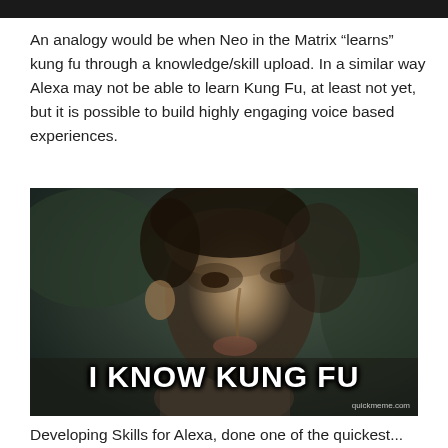[Figure (photo): Dark top bar, partial image from previous content]
An analogy would be when Neo in the Matrix “learns” kung fu through a knowledge/skill upload. In a similar way Alexa may not be able to learn Kung Fu, at least not yet, but it is possible to build highly engaging voice based experiences.
[Figure (photo): Movie still from The Matrix showing Neo's face looking upward with text overlay 'I KNOW KUNG FU' in bold white Impact font. Watermark reads 'quickmeme.com'.]
Developing Skills for Alexa, done one of the quickest...